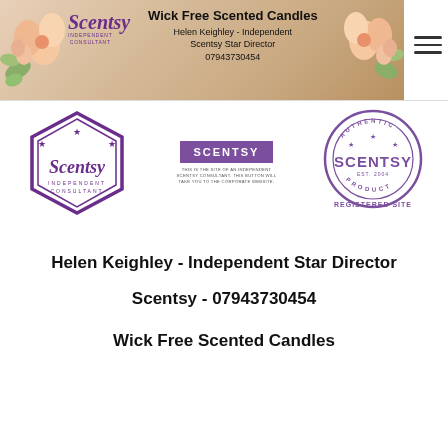[Figure (logo): Scentsy Independent Consultant header banner with logo, flowers, and contact info for Helen Keighley - Independent Scentsy Star Director, 07943730454, Wick Free Scented Candles]
[Figure (logo): Three Scentsy logos: Independent Consultant hexagon badge, purple Scentsy button linking to corporate website, and Authentic Product Registered Site circular badge]
Helen Keighley - Independent Star Director
Scentsy - 07943730454
Wick Free Scented Candles